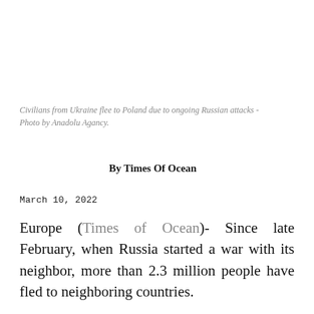Civilians from Ukraine flee to Poland due to ongoing Russian attacks - Photo by Anadolu Agancy.
By Times Of Ocean
March 10, 2022
Europe (Times of Ocean)- Since late February, when Russia started a war with its neighbor, more than 2.3 million people have fled to neighboring countries.